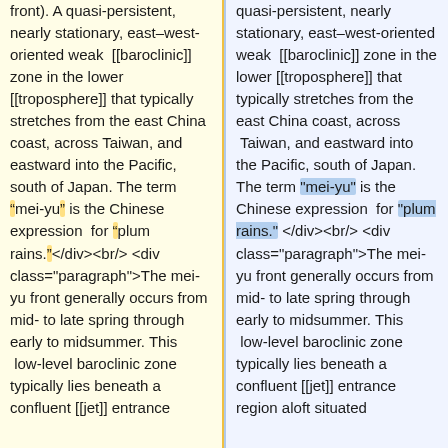front). A quasi-persistent, nearly stationary, east&ndash;west-oriented weak [[baroclinic]] zone in the lower [[troposphere]] that typically stretches from the east China coast, across Taiwan, and eastward into the Pacific, south of Japan. The term &ldquo;mei-yu&rdquo; is the Chinese expression for &ldquo;plum rains.&rdquo;</div><br/> <div class="paragraph">The mei-yu front generally occurs from mid- to late spring through early to midsummer. This low-level baroclinic zone typically lies beneath a confluent [[jet]] entrance
quasi-persistent, nearly stationary, east&ndash;west-oriented weak [[baroclinic]] zone in the lower [[troposphere]] that typically stretches from the east China coast, across Taiwan, and eastward into the Pacific, south of Japan. The term "mei-yu" is the Chinese expression for "plum rains." </div><br/> <div class="paragraph">The mei-yu front generally occurs from mid- to late spring through early to midsummer. This low-level baroclinic zone typically lies beneath a confluent [[jet]] entrance region aloft situated